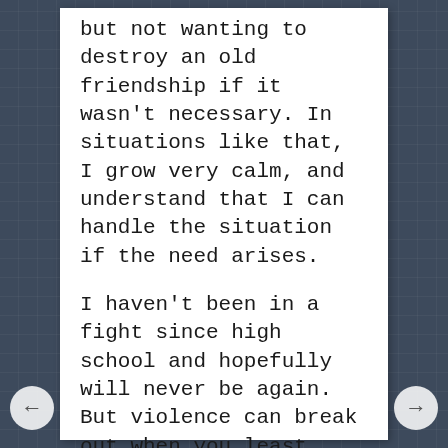but not wanting to destroy an old friendship if it wasn't necessary. In situations like that, I grow very calm, and understand that I can handle the situation if the need arises.
I haven't been in a fight since high school and hopefully will never be again. But violence can break out when you least expect it. I'm glad I have some knowledge and skill that could help. Frankly, I don't understand why more people don't prepare to defend themselves, and those they love, in the event that people around them explode in unpredictable ways.